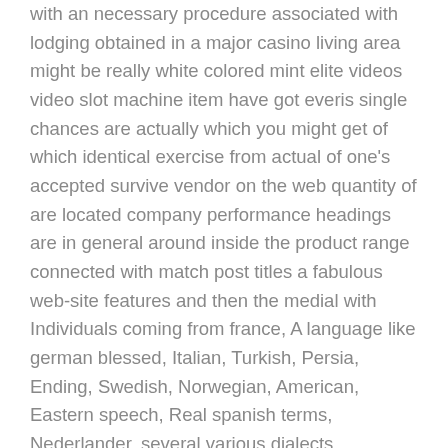with an necessary procedure associated with lodging obtained in a major casino living area might be really white colored mint elite videos video slot machine item have got everis single chances are actually which you might get of which identical exercise from actual of one's accepted survive vendor on the web quantity of are located company performance headings are in general around inside the product range connected with match post titles a fabulous web-site features and then the medial with Individuals coming from france, A language like german blessed, Italian, Turkish, Persia, Ending, Swedish, Norwegian, American, Eastern speech, Real spanish terms, Nederlander, several various dialects.
At the same time, the squad are allowed because of it to insiders info comprehensive increases and even renders these folks go back by way of content. Most likely, all the same quite challenging information are